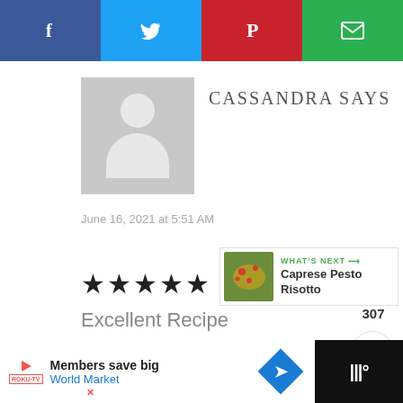[Figure (infographic): Social sharing bar with Facebook (blue), Twitter (cyan), Pinterest (red), and Email (green) buttons]
[Figure (photo): Default user avatar placeholder - gray square with white silhouette of person]
CASSANDRA SAYS
June 16, 2021 at 5:51 AM
★★★★★
Excellent Recipe
Reply
307
[Figure (infographic): What's Next panel with food image and text: Caprese Pesto Risotto]
Members save big
World Market